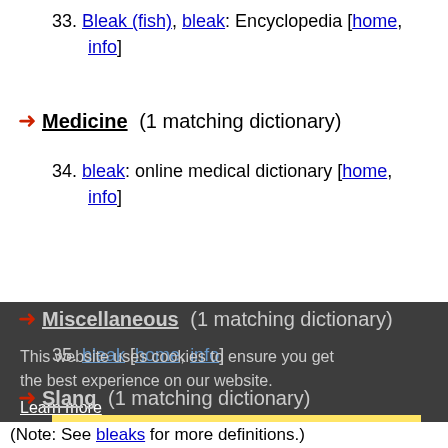33. Bleak (fish), bleak: Encyclopedia [home, info]
Medicine (1 matching dictionary)
34. bleak: online medical dictionary [home, info]
Miscellaneous (1 matching dictionary)
35. bleak: ...
Slang (1 matching dictionary)
36. bleak: Urban Dictionary [home, info]
(Note: See bleaks for more definitions.)